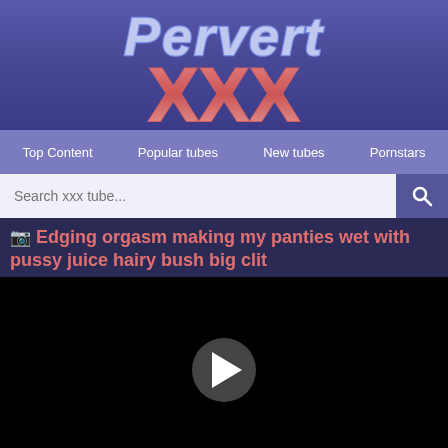[Figure (logo): PervertXXX logo with stylized text on purple-blue gradient background]
Top Content   Popular tubes   New tubes   Pornstars
Search xxx tube...
📷 Edging orgasm making my panties wet with pussy juice hairy bush big clit
[Figure (screenshot): Black video player area with white play button circle in center]